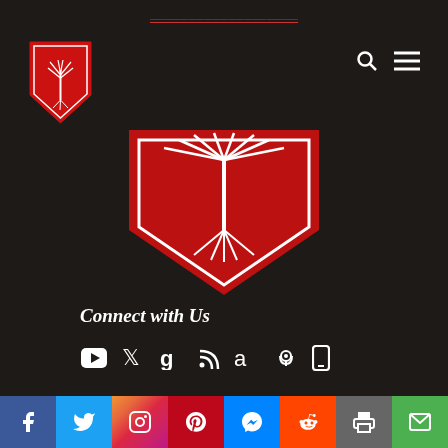navigation links (decorative/truncated)
[Figure (logo): University of South Carolina shield logo, top-left corner, red shield with white palmetto tree]
[Figure (logo): Large center shield logo, bottom half of shield showing white palmetto tree roots on red background with white border]
Connect with Us
[Figure (infographic): Row of social media and podcast icons: YouTube, Twitter, Google, RSS feed, Amazon, Podcast, Mobile]
Recent Posts
Social share bar: Facebook, Twitter, Instagram, Pinterest, Messenger, Reddit, Print, Email